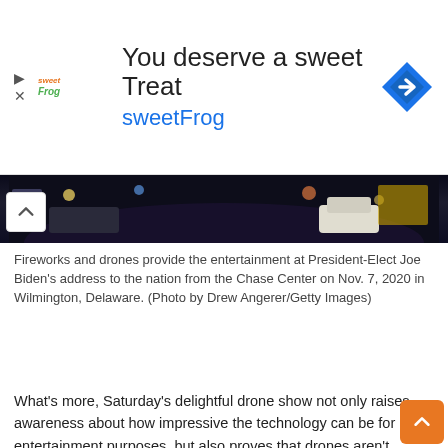[Figure (infographic): Advertisement banner for sweetFrog frozen yogurt. Shows sweetFrog logo, text 'You deserve a sweet Treat', brand name 'sweetFrog', and a blue navigation arrow icon on the right.]
[Figure (photo): Dark nighttime photo showing fireworks and drones at President-Elect Joe Biden's Chase Center event on Nov. 7, 2020.]
Fireworks and drones provide the entertainment at President-Elect Joe Biden's address to the nation from the Chase Center on Nov. 7, 2020 in Wilmington, Delaware. (Photo by Drew Angerer/Getty Images)
What's more, Saturday's delightful drone show not only raises awareness about how impressive the technology can be for entertainment purposes, but also proves that drones aren't always “bad or scary,” as many people have long feared. Drones can be used for good — not just for crashing or spying on you.
Related read: How Intel's drone light shows work, according to Intel's own drone team
Related read: How much does a drone light show cost